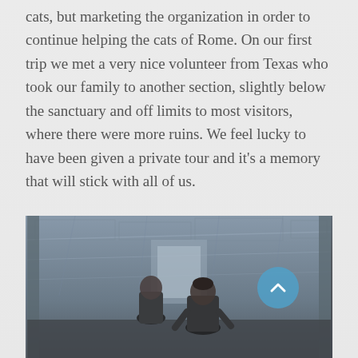cats, but marketing the organization in order to continue helping the cats of Rome. On our first trip we met a very nice volunteer from Texas who took our family to another section, slightly below the sanctuary and off limits to most visitors, where there were more ruins. We feel lucky to have been given a private tour and it's a memory that will stick with all of us.
[Figure (photo): Photo of people (at least two individuals visible) inside what appears to be an ancient stone ruin or cave-like structure with rough stone ceiling/walls in grey-blue tones.]